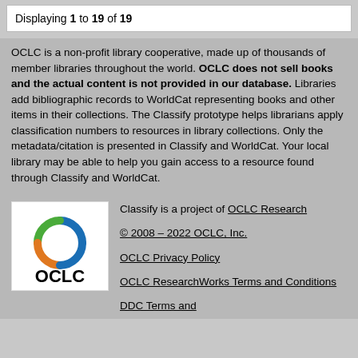Displaying 1 to 19 of 19
OCLC is a non-profit library cooperative, made up of thousands of member libraries throughout the world. OCLC does not sell books and the actual content is not provided in our database. Libraries add bibliographic records to WorldCat representing books and other items in their collections. The Classify prototype helps librarians apply classification numbers to resources in library collections. Only the metadata/citation is presented in Classify and WorldCat. Your local library may be able to help you gain access to a resource found through Classify and WorldCat.
[Figure (logo): OCLC logo with circular arc design in blue, green, and orange above the text OCLC in black]
Classify is a project of OCLC Research
© 2008 – 2022 OCLC, Inc.
OCLC Privacy Policy
OCLC ResearchWorks Terms and Conditions
DDC Terms and